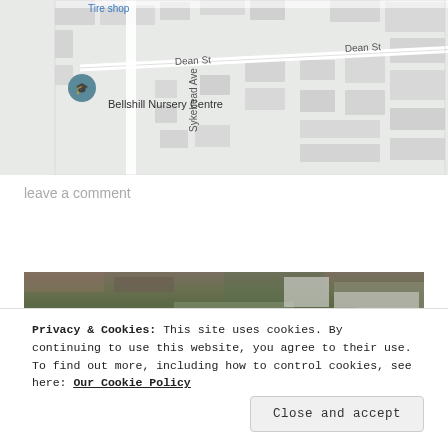[Figure (map): Street map showing Bellshill Nursery Centre location at Dean St and Sykehead Ave intersection]
leave a comment
[Figure (photo): Aerial photograph of a suburban area with houses and trees]
Privacy & Cookies: This site uses cookies. By continuing to use this website, you agree to their use.
To find out more, including how to control cookies, see here: Our Cookie Policy
Close and accept